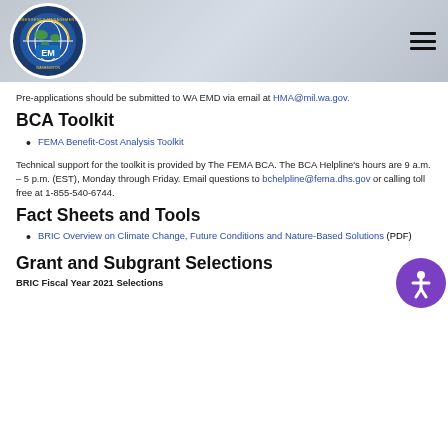[Figure (logo): Washington Emergency Management Division circular logo with globe and EM text]
Pre-applications should be submitted to WA EMD via email at HMA@mil.wa.gov.
BCA Toolkit
FEMA Benefit-Cost Analysis Toolkit
Technical support for the toolkit is provided by The FEMA BCA. The BCA Helpline's hours are 9 a.m. – 5 p.m. (EST), Monday through Friday. Email questions to bchelpline@fema.dhs.gov or calling toll free at 1-855-540-6744.
Fact Sheets and Tools
BRIC Overview on Climate Change, Future Conditions and Nature-Based Solutions (PDF)
Grant and Subgrant Selections
BRIC Fiscal Year 2021 Selections